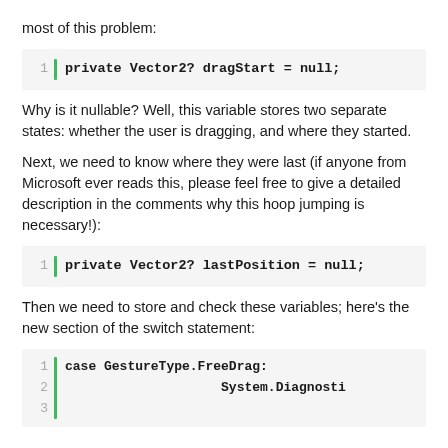most of this problem:
[Figure (screenshot): Code block with line number 1 and green bar: private Vector2? dragStart = null;]
Why is it nullable? Well, this variable stores two separate states: whether the user is dragging, and where they started.
Next, we need to know where they were last (if anyone from Microsoft ever reads this, please feel free to give a detailed description in the comments why this hoop jumping is necessary!):
[Figure (screenshot): Code block with line number 1 and green bar: private Vector2? lastPosition = null;]
Then we need to store and check these variables; here’s the new section of the switch statement:
[Figure (screenshot): Code block with line numbers 1, 2, 3 and green bar: case GestureType.FreeDrag: then System.Diagnosti (truncated)]